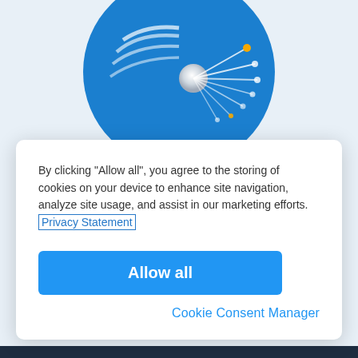[Figure (logo): Blue circular logo with white and yellow fiber optic lines radiating from center sphere, on light blue background]
By clicking “Allow all”, you agree to the storing of cookies on your device to enhance site navigation, analyze site usage, and assist in our marketing efforts. Privacy Statement
Allow all
Cookie Consent Manager
research or social media charts?
More Information